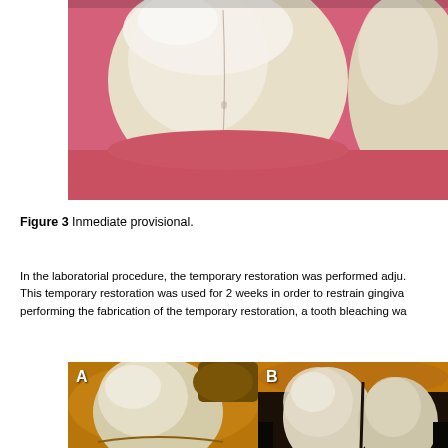[Figure (photo): Close-up clinical photograph of a tooth showing a white/translucent immediate provisional restoration against pink gingival tissue.]
Figure 3 Inmediate provisional.
In the laboratorial procedure, the temporary restoration was performed adju. This temporary restoration was used for 2 weeks in order to restrain gingiva performing the fabrication of the temporary restoration, a tooth bleaching wa
[Figure (photo): Two clinical photographs side by side labeled A and B. A shows a close-up of a provisional crown restoration on a prepared tooth with orange background/isolation. B shows adjacent teeth with a restoration in place.]